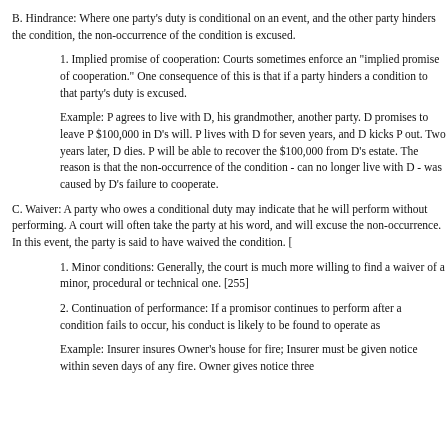B. Hindrance: Where one party's duty is conditional on an event, and the other party hinders the condition, the non-occurrence of the condition is excused.
1. Implied promise of cooperation: Courts sometimes enforce an "implied promise of cooperation." One consequence of this is that if a party hinders a condition to that party's duty is excused.
Example: P agrees to live with D, his grandmother, and D promises to leave P $100,000 in D's will. P lives with D for seven years, and D kicks P out. Two years later, D dies. P will be able to recover the $100,000 from D's estate. The reason is that the non-occurrence of the condition - can no longer live with D - was caused by D's failure to cooperate.
C. Waiver: A party who owes a conditional duty may indicate that he will perform without performing. A court will often take the party at his word, and will excuse the non-occurrence. In this event, the party is said to have waived the condition. [
1. Minor conditions: Generally, the court is much more willing to find a waiver of a minor, procedural or technical one. [255]
2. Continuation of performance: If a promisor continues to perform after a condition fails to occur, his conduct is likely to be found to operate as a waiver.
Example: Insurer insures Owner's house for fire; Insurer must be given notice within seven days of any fire. Owner gives notice three